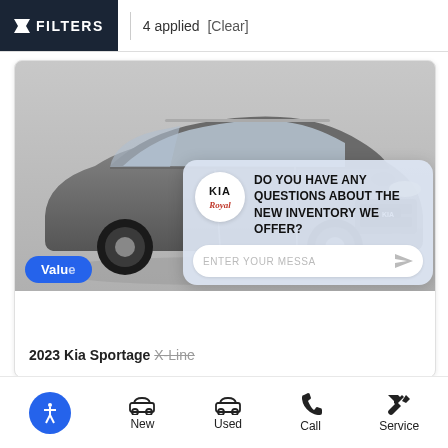FILTERS | 4 applied [Clear]
[Figure (photo): 2023 Kia Sportage X-Line SUV shown in dark gray/graphite color, front three-quarter view. A chat widget overlay displays 'DO YOU HAVE ANY QUESTIONS ABOUT THE NEW INVENTORY WE OFFER?' with a Kia Royal dealership logo and message input field reading 'ENTER YOUR MESSA'. A 'Value' button (Value My Trade) is partially visible. A close X button is in the upper right of the chat overlay.]
2023 Kia Sportage X-Line
New | Used | Call | Service